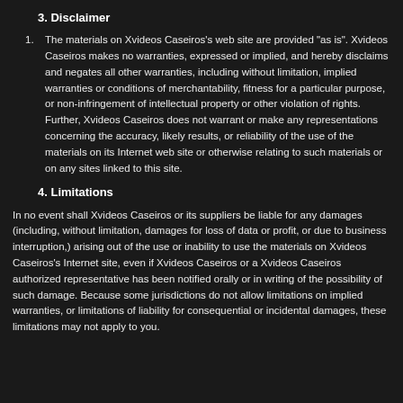3. Disclaimer
The materials on Xvideos Caseiros's web site are provided "as is". Xvideos Caseiros makes no warranties, expressed or implied, and hereby disclaims and negates all other warranties, including without limitation, implied warranties or conditions of merchantability, fitness for a particular purpose, or non-infringement of intellectual property or other violation of rights. Further, Xvideos Caseiros does not warrant or make any representations concerning the accuracy, likely results, or reliability of the use of the materials on its Internet web site or otherwise relating to such materials or on any sites linked to this site.
4. Limitations
In no event shall Xvideos Caseiros or its suppliers be liable for any damages (including, without limitation, damages for loss of data or profit, or due to business interruption,) arising out of the use or inability to use the materials on Xvideos Caseiros's Internet site, even if Xvideos Caseiros or a Xvideos Caseiros authorized representative has been notified orally or in writing of the possibility of such damage. Because some jurisdictions do not allow limitations on implied warranties, or limitations of liability for consequential or incidental damages, these limitations may not apply to you.